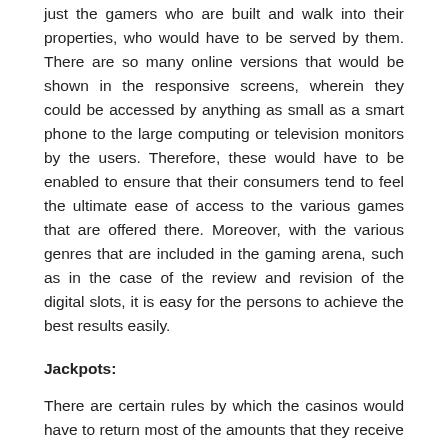just the gamers who are built and walk into their properties, who would have to be served by them. There are so many online versions that would be shown in the responsive screens, wherein they could be accessed by anything as small as a smart phone to the large computing or television monitors by the users. Therefore, these would have to be enabled to ensure that their consumers tend to feel the ultimate ease of access to the various games that are offered there. Moreover, with the various genres that are included in the gaming arena, such as in the case of the review and revision of the digital slots, it is easy for the persons to achieve the best results easily.
Jackpots:
There are certain rules by which the casinos would have to return most of the amounts that they receive from the players and this cannot be done without the help of the jackpots. Therefore, it is easy for the online casino players to note that